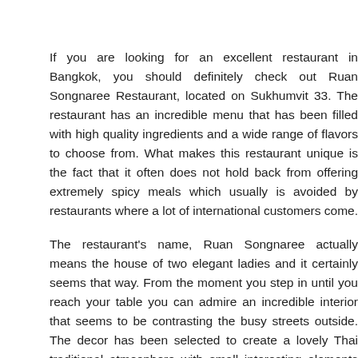If you are looking for an excellent restaurant in Bangkok, you should definitely check out Ruan Songnaree Restaurant, located on Sukhumvit 33. The restaurant has an incredible menu that has been filled with high quality ingredients and a wide range of flavors to choose from. What makes this restaurant unique is the fact that it often does not hold back from offering extremely spicy meals which usually is avoided by restaurants where a lot of international customers come.
The restaurant's name, Ruan Songnaree actually means the house of two elegant ladies and it certainly seems that way. From the moment you step in until you reach your table you can admire an incredible interior that seems to be contrasting the busy streets outside. The decor has been selected to create a lovely Thai traditional atmosphere with small interesting elements such as silk tablecloths,